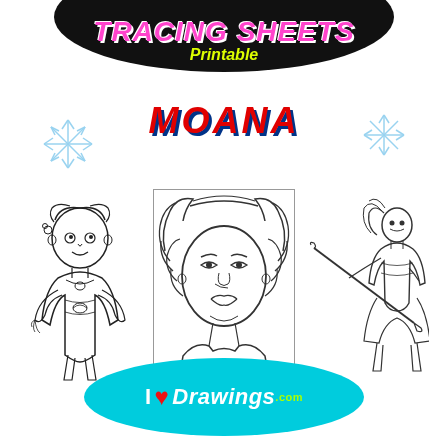TRACING SHEETS Printable
MOANA
[Figure (illustration): Three Moana character line-drawing illustrations for tracing: baby Moana holding a shell, a close-up portrait of Moana with curly hair in a bordered box, and Moana in action pose wielding an oar/weapon]
[Figure (logo): I Love Drawings logo on a teal/cyan oval with a red heart icon]